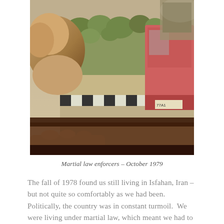[Figure (photo): A vintage photograph showing a child looking out of a car window at a street scene with a red vehicle, a black-and-white striped curb, green shrubs and trees, and what appears to be military vehicles in the background. The photo has a warm, faded tone typical of 1970s photography.]
Martial law enforcers – October 1979
The fall of 1978 found us still living in Isfahan, Iran – but not quite so comfortably as we had been.  Politically, the country was in constant turmoil.  We were living under martial law, which meant we had to be in our house between 8 p.m. and 6 a.m.  Martial law also restricted public meetings to groups of three or less, so our church